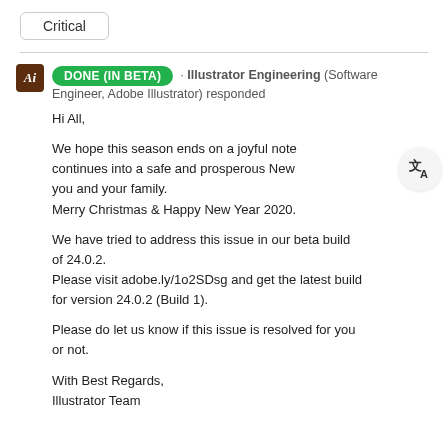Critical
DONE (IN BETA) · Illustrator Engineering (Software Engineer, Adobe Illustrator) responded
Hi All,

We hope this season ends on a joyful note continues into a safe and prosperous New you and your family.
Merry Christmas & Happy New Year 2020.

We have tried to address this issue in our beta build of 24.0.2.
Please visit adobe.ly/1o2SDsg and get the latest build for version 24.0.2 (Build 1).

Please do let us know if this issue is resolved for you or not.

With Best Regards,
Illustrator Team